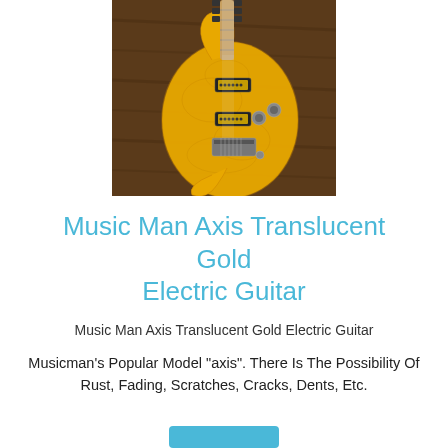[Figure (photo): Photo of a Music Man Axis electric guitar in translucent gold finish with quilted maple top, two humbuckers, chrome hardware, on a wooden surface.]
Music Man Axis Translucent Gold Electric Guitar
Music Man Axis Translucent Gold Electric Guitar
Musicman's Popular Model "axis". There Is The Possibility Of Rust, Fading, Scratches, Cracks, Dents, Etc.